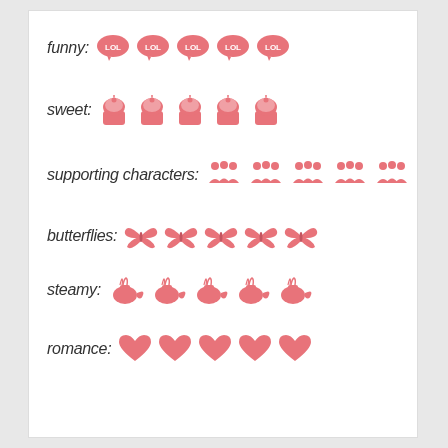funny: LOL LOL LOL LOL LOL (5 icons)
sweet: cupcake cupcake cupcake cupcake cupcake (5 icons)
supporting characters: people people people people people (5 icons)
butterflies: butterfly butterfly butterfly butterfly butterfly (5 icons)
steamy: teapot teapot teapot teapot teapot (5 icons)
romance: heart heart heart heart heart (5 icons)